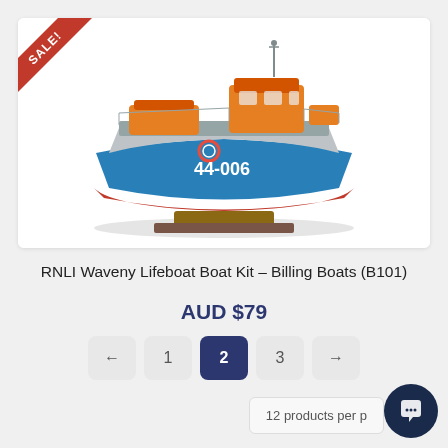[Figure (photo): Model boat kit photo showing RNLI Waveny Lifeboat model (44-006) with blue hull, orange superstructure and cabin, displayed on a wooden stand. A red SALE! banner appears in the top-left corner.]
RNLI Waveny Lifeboat Boat Kit – Billing Boats (B101)
AUD $79
← 1 2 3 →
12 products per p